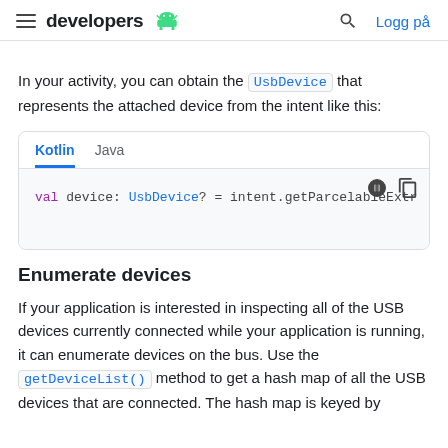developers  Logg på
In your activity, you can obtain the UsbDevice that represents the attached device from the intent like this:
[Figure (screenshot): Code block with Kotlin/Java tabs showing: val device: UsbDevice? = intent.getParcelableExtr]
Enumerate devices
If your application is interested in inspecting all of the USB devices currently connected while your application is running, it can enumerate devices on the bus. Use the getDeviceList() method to get a hash map of all the USB devices that are connected. The hash map is keyed by